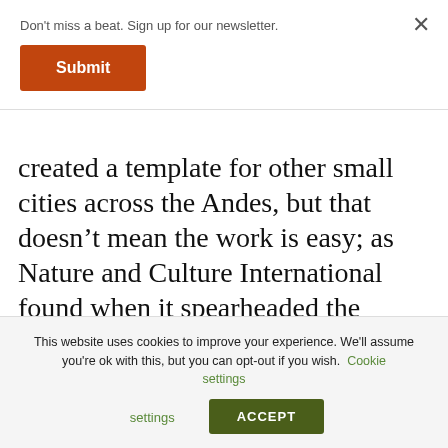Don't miss a beat. Sign up for our newsletter.
Submit
× (close button)
created a template for other small cities across the Andes, but that doesn't mean the work is easy; as Nature and Culture International found when it spearheaded the effort. Here's what they learned.
[Figure (photo): Outdoor photo showing a red water tap or faucet against a grassy/muddy background]
This website uses cookies to improve your experience. We'll assume you're ok with this, but you can opt-out if you wish. Cookie settings ACCEPT